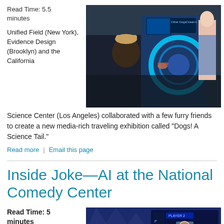Read Time: 5.5 minutes
Unified Field (New York), Evidence Design (Brooklyn) and the California
[Figure (photo): Photo of people interacting with a large illuminated blue circular interactive exhibit machine, crowd in dark foreground, anime-style illustration on the right side of the machine]
Science Center (Los Angeles) collaborated with a few furry friends to create a new media-rich traveling exhibition called “Dogs! A Science Tail.”
Read more | Email this page
Inside Joke—AI at the National Comedy Center
Read Time: 5 minutes
[Figure (photo): Screenshot of a digital game screen showing a player 2 interface with a face photo, score display, and 'You Decided!' text on a dark blue background with diamond patterns]